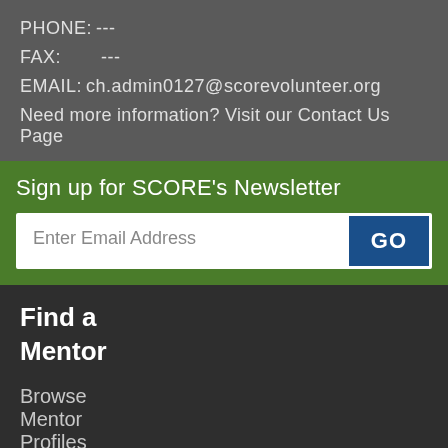PHONE: ---
FAX:       ---
EMAIL:  ch.admin0127@scorevolunteer.org
Need more information? Visit our Contact Us Page
Sign up for SCORE's Newsletter
Enter Email Address
Find a
Mentor
Browse
Mentor
Profiles
Request
a
Mentor